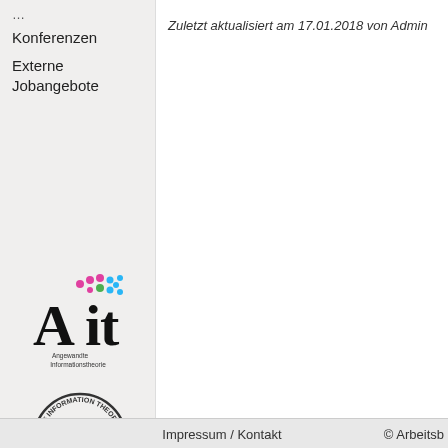Konferenzen
Externe Jobangebote
Zuletzt aktualisiert am 17.01.2018 von Admin
[Figure (logo): AIT Angewandte Informationstheorie logo with colorful dots above stylized 'Ait' text]
[Figure (logo): IEEE Information Theory Society circular logo with 'it' in blue cursive]
Impressum / Kontakt   © Arbeitsb